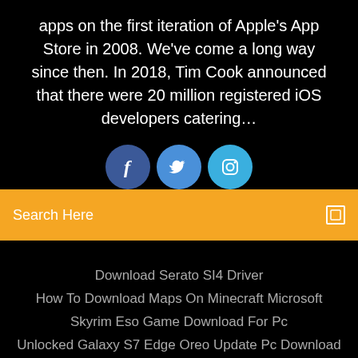apps on the first iteration of Apple's App Store in 2008. We've come a long way since then. In 2018, Tim Cook announced that there were 20 million registered iOS developers catering…
[Figure (illustration): Three social media icon buttons: Facebook (dark blue), Twitter (medium blue), Instagram (light blue), partially visible]
Search Here
Download Serato SI4 Driver
How To Download Maps On Minecraft Microsoft
Skyrim Eso Game Download For Pc
Unlocked Galaxy S7 Edge Oreo Update Pc Download
Copyright ©2022 All rights reserved